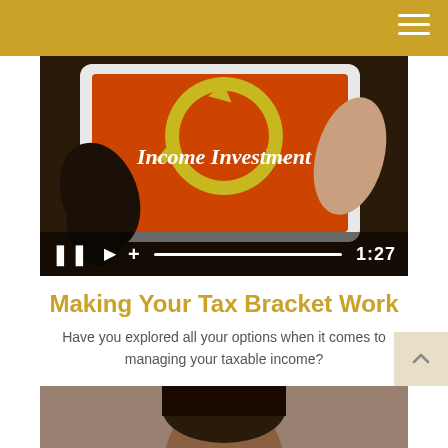[Figure (screenshot): Video player showing a tablet with 'Income Investment' text and recycling arrows logo on an orange background, held by two hands. Video controls show pause, play, plus icons, a progress bar, and time 1:27.]
Making Your Tax Bracket Work
Have you explored all your options when it comes to managing your taxable income?
[Figure (photo): Bottom portion of page showing the top of a person's head — a cropped photo of a person.]